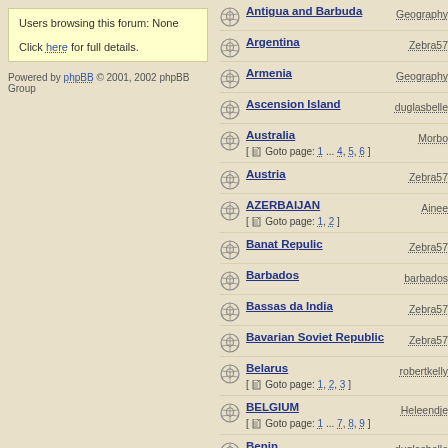Users browsing this forum: None

Click here for full details.
Powered by phpBB © 2001, 2002 phpBB Group
Antigua and Barbuda — Geography
Argentina — Zebra57
Armenia — Geography
Ascension Island — duglasbelle
Australia — Morbo [ Goto page: 1 ... 4, 5, 6 ]
Austria — Zebra57
AZERBAIJAN — Ainee [ Goto page: 1, 2 ]
Banat Repulic — Zebra57
Barbados — barbados
Bassas da India — Zebra57
Bavarian Soviet Republic — Zebra57
Belarus — robertkelly [ Goto page: 1, 2, 3 ]
BELGIUM — Heleendje [ Goto page: 1 ... 7, 8, 9 ]
Benin — duglasbelle